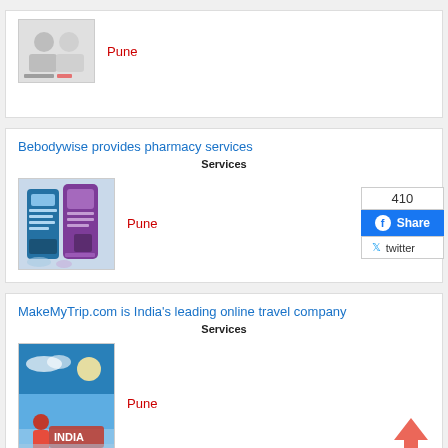[Figure (photo): Partial card at top showing two people and Pune text]
Pune
Bebodywise provides pharmacy services
Services
[Figure (photo): Pharmacy product packages - purple/blue packaging]
Pune
MakeMyTrip.com is India's leading online travel company
Services
[Figure (photo): Travel image with blue sky and promotional banner]
Pune